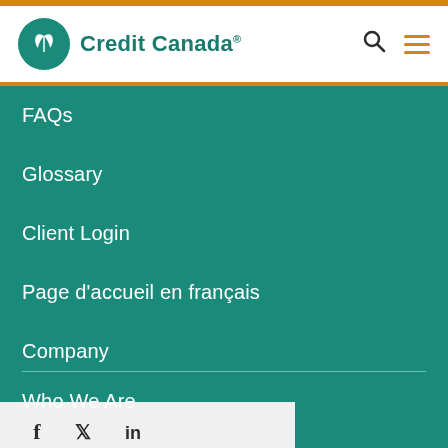Credit Canada®
FAQs
Glossary
Client Login
Page d'accueil en français
Company
Who We Are
In the News
[Figure (other): Social media icons: Facebook, Twitter, LinkedIn]